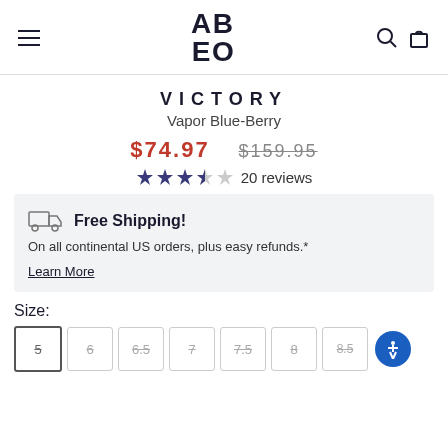ABEO (logo with hamburger menu, search, and bag icons)
VICTORY
Vapor Blue-Berry
$74.97  $159.95
20 reviews (3.5 stars)
Free Shipping! On all continental US orders, plus easy refunds.* Learn More
Size:
5  6  6.5  7  7.5  8  8.5